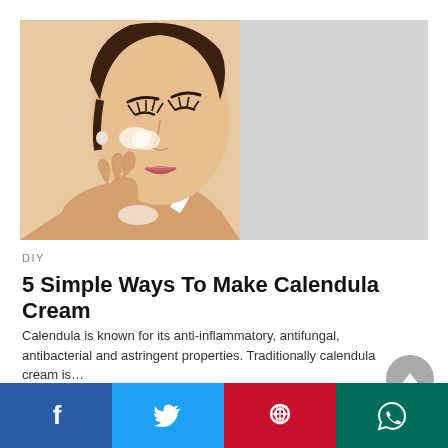[Figure (photo): Woman applying cream to her face against a light grey background]
DIY
5 Simple Ways To Make Calendula Cream
Calendula is known for its anti-inflammatory, antifungal, antibacterial and astringent properties. Traditionally calendula cream is…
5 years ago